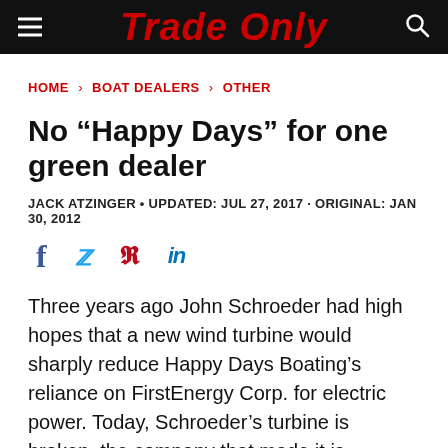Trade Only
HOME › BOAT DEALERS › OTHER
No “Happy Days” for one green dealer
JACK ATZINGER · UPDATED: JUL 27, 2017 · ORIGINAL: JAN 30, 2012
[Figure (infographic): Social sharing icons: Facebook, Twitter, Pinterest, LinkedIn]
Three years ago John Schroeder had high hopes that a new wind turbine would sharply reduce Happy Days Boating's reliance on FirstEnergy Corp. for electric power. Today, Schroeder's turbine is broken, the company that made it is